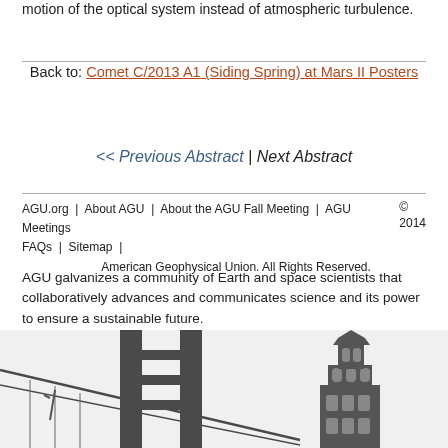motion of the optical system instead of atmospheric turbulence.
Back to: Comet C/2013 A1 (Siding Spring) at Mars II Posters
<< Previous Abstract | Next Abstract
AGU.org | About AGU | About the AGU Fall Meeting | AGU Meetings FAQs | Sitemap | © 2014 American Geophysical Union. All Rights Reserved.
AGU galvanizes a community of Earth and space scientists that collaboratively advances and communicates science and its power to ensure a sustainable future.
[Figure (illustration): Grayscale illustration of the Golden Gate Bridge tower on the left and a clock tower building on the right, shown partially at the bottom of the page.]